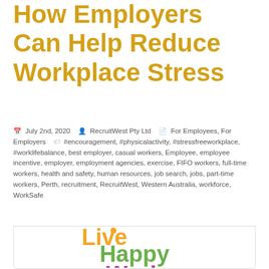How Employers Can Help Reduce Workplace Stress
July 2nd, 2020  RecruitWest Pty Ltd  For Employees, For Employers  #encouragement, #physicalactivity, #stressfreeworkplace, #worklifebalance, best employer, casual workers, Employee, employee incentive, employer, employment agencies, exercise, FIFO workers, full-time workers, health and safety, human resources, job search, jobs, part-time workers, Perth, recruitment, RecruitWest, Western Australia, workforce, WorkSafe
[Figure (illustration): Live Happy Work colorful logo/graphic with 'Live' in orange, 'Happy' in green, and 'Work' partially visible in pink/magenta at the bottom]